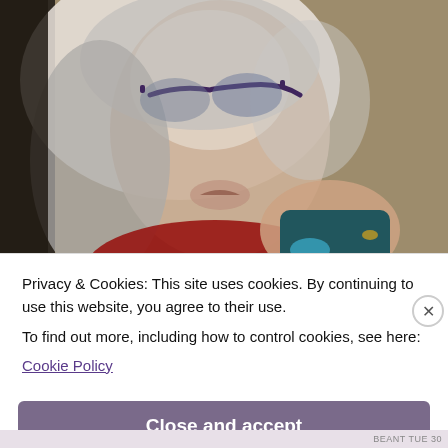[Figure (photo): Close-up photo of an older person with gray hair and glasses, holding a dark colored object (appears to be a gaming controller or device), wearing a red shirt. Background is a tan/olive colored wall.]
Privacy & Cookies: This site uses cookies. By continuing to use this website, you agree to their use.
To find out more, including how to control cookies, see here:
Cookie Policy
Close and accept
BEANT TUE 30